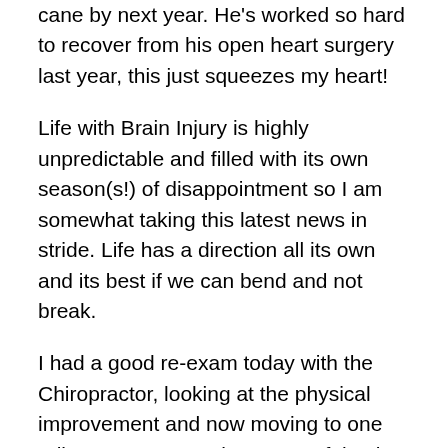cane by next year. He's worked so hard to recover from his open heart surgery last year, this just squeezes my heart!
Life with Brain Injury is highly unpredictable and filled with its own season(s!) of disappointment so I am somewhat taking this latest news in stride. Life has a direction all its own and its best if we can bend and not break.
I had a good re-exam today with the Chiropractor, looking at the physical improvement and now moving to one adjustment per week. I'm grateful to be out of the more acute phase, not completely out of pain, but not a hurting unit like I was the day I walked in there. Just wish my brain would make a grand entrance!
I'm thinking about scheduling an appointment with my primary care physician to make sure nothing else is